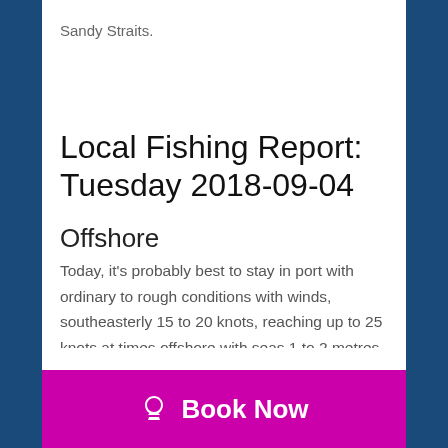Sandy Straits.
Local Fishing Report: Tuesday 2018-09-04
Offshore
Today, it's probably best to stay in port with ordinary to rough conditions with winds, southeasterly 15 to 20 knots, reaching up to 25 knots at times offshore with seas 1 to 2 metres. Tomorrow will be still choppy with winds east to southeasterly 15 to 20 knots and seas 1 to 1.5 metres, decreasing to 1 metre during the afternoon. When you can get out again there have been ca... perch, ... fished North Reef on Saturday where we caught pearl